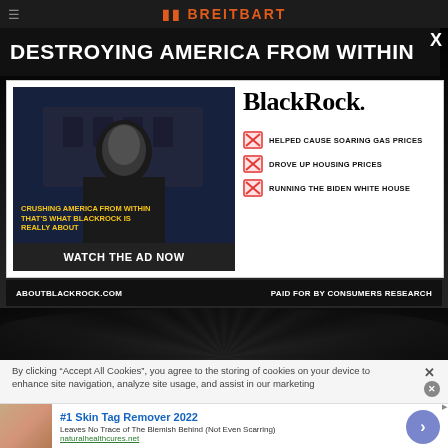BREITBART
DESTROYING AMERICA FROM WITHIN
[Figure (screenshot): Advertisement screenshot showing a man in front of the White House with text 'CRUSHING AMERICA FROM WITHIN THAT'S WHAT BLACKROCK IS REALLY ABOUT' in yellow, with a WATCH THE AD NOW button, BlackRock logo, and three checkbox claims: HELPED CAUSE SOARING GAS PRICES, DROVE UP HOUSING PRICES, RUNNING THE BIDEN WHITE HOUSE. Footer reads ABOUTBLACKROCK.COM and PAID FOR BY CONSUMERS RESEARCH.]
By clicking “Accept All Cookies”, you agree to the storing of cookies on your device to enhance site navigation, analyze site usage, and assist in our marketing
#1 Skin Tag Remover 2022
Leaves No Trace of The Blemish Behind (Not Even Scarring)
naturalhealthcures.net